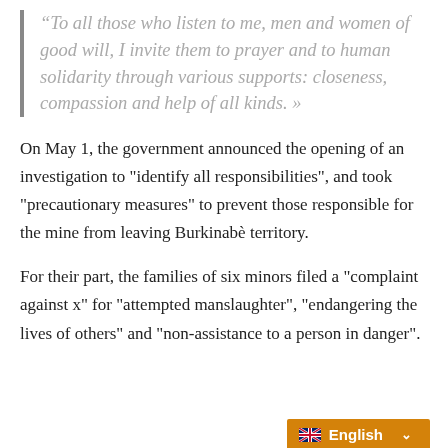“To all those who listen to me, men and women of good will, I invite them to prayer and to human solidarity through various supports: closeness, compassion and help of all kinds. »
On May 1, the government announced the opening of an investigation to "identify all responsibilities", and took "precautionary measures" to prevent those responsible for the mine from leaving Burkinaè territory.
For their part, the families of six minors filed a "complaint against x" for "attempted manslaughter", "endangering the lives of others" and "non-assistance to a person in danger".